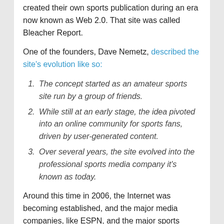created their own sports publication during an era now known as Web 2.0. That site was called Bleacher Report.
One of the founders, Dave Nemetz, described the site's evolution like so:
The concept started as an amateur sports site run by a group of friends.
While still at an early stage, the idea pivoted into an online community for sports fans, driven by user-generated content.
Over several years, the site evolved into the professional sports media company it's known as today.
Around this time in 2006, the Internet was becoming established, and the major media companies, like ESPN, and the major sports leagues were starting to get their act together online. But there was still room for newcomers like Bleacher Report and Barstool Sports to enter the arena and grab a share of the market.